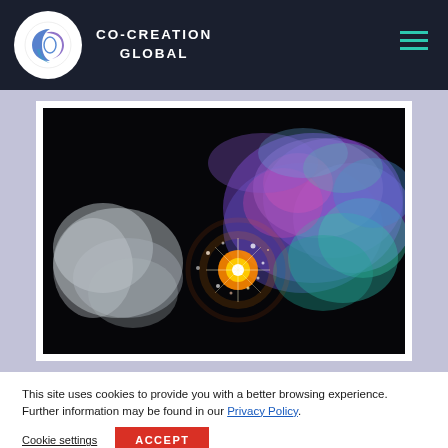CO-CREATION GLOBAL
[Figure (photo): Abstract cosmic explosion image with colorful smoke clouds (white on left, colorful purple/teal on right) and bright light burst in center on black background]
This site uses cookies to provide you with a better browsing experience. Further information may be found in our Privacy Policy.
Cookie settings   ACCEPT